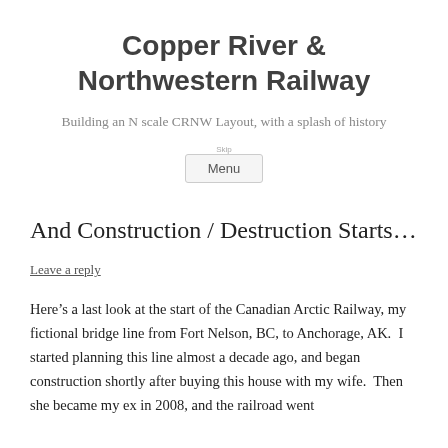Copper River & Northwestern Railway
Building an N scale CRNW Layout, with a splash of history
Menu
And Construction / Destruction Starts…
Leave a reply
Here's a last look at the start of the Canadian Arctic Railway, my fictional bridge line from Fort Nelson, BC, to Anchorage, AK.  I started planning this line almost a decade ago, and began construction shortly after buying this house with my wife.  Then she became my ex in 2008, and the railroad went